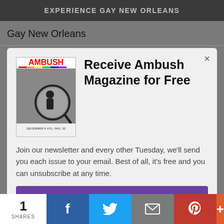[Figure (screenshot): Dark top banner with text EXPERIENCE GAY NEW ORLEANS]
Gay New Orleans
[Figure (infographic): Modal popup: Ambush Magazine cover image on left, title 'Receive Ambush Magazine for Free', body text about newsletter, purple Subscribe now button]
Join our newsletter and every other Tuesday, we'll send you each issue to your email. Best of all, it's free and you can unsubscribe at any time.
Subscribe now
[Figure (screenshot): Bottom dark image area]
[Figure (infographic): Share bar: 1 SHARES count, Facebook, Twitter, Email, Pinterest, More buttons]